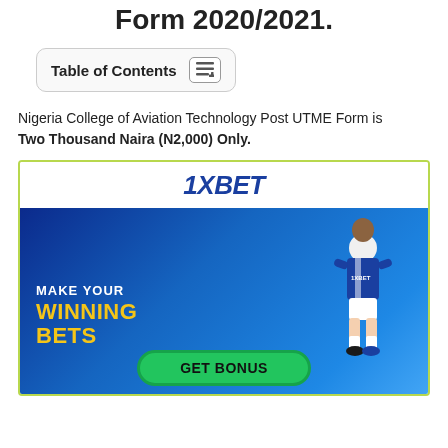Form 2020/2021.
Table of Contents
Nigeria College of Aviation Technology Post UTME Form is Two Thousand Naira (N2,000) Only.
[Figure (photo): 1XBET advertisement banner with blue background showing a soccer player, text 'MAKE YOUR WINNING BETS' in white and yellow, and a green 'GET BONUS' button]